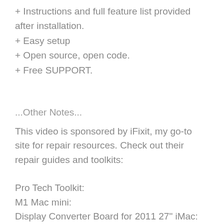+ Instructions and full feature list provided after installation.
+ Easy setup
+ Open source, open code.
+ Free SUPPORT.
...Other Notes...
This video is sponsored by iFixit, my go-to site for repair resources. Check out their repair guides and toolkits:
Pro Tech Toolkit:
M1 Mac mini:
Display Converter Board for 2011 27" iMac: